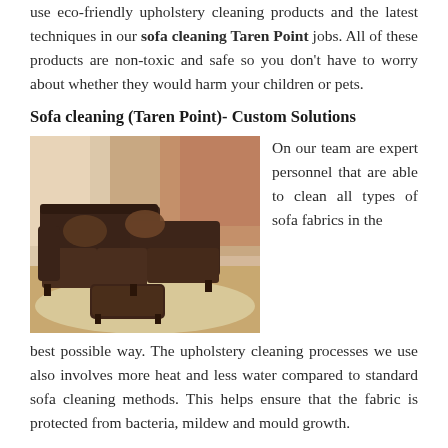use eco-friendly upholstery cleaning products and the latest techniques in our sofa cleaning Taren Point jobs. All of these products are non-toxic and safe so you don't have to worry about whether they would harm your children or pets.
Sofa cleaning (Taren Point)- Custom Solutions
[Figure (photo): A dark brown leather sectional sofa with ottoman on a beige rug]
On our team are expert personnel that are able to clean all types of sofa fabrics in the best possible way. The upholstery cleaning processes we use also involves more heat and less water compared to standard sofa cleaning methods. This helps ensure that the fabric is protected from bacteria, mildew and mould growth.
We understand that you choose your sofas with great care and attention to detail and spend a significant amount of